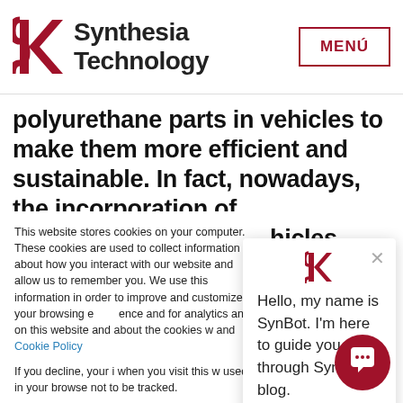Synthesia Technology — MENÚ
polyurethane parts in vehicles to make them more efficient and sustainable. In fact, nowadays, the incorporation of polyurethane inside vehicles
This website stores cookies on your computer. These cookies are used to collect information about how you interact with our website and allow us to remember you. We use this information in order to improve and customize your browsing experience and for analytics and... on this website and... about the cookies w... and Cookie Policy

If you decline, your i... when you visit this w... used in your browse... not to be tracked.
[Figure (screenshot): SynBot chat popup: 'Hello, my name is SynBot. I'm here to guide you through Synthesia blog.' with a close X button and the Synthesia logo]
Accept | Decline